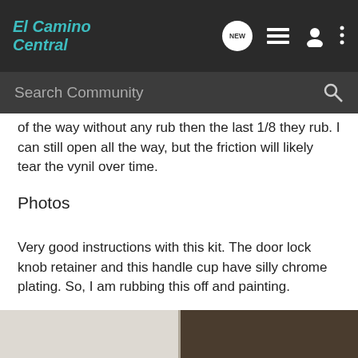El Camino Central
of the way without any rub then the last 1/8 they rub. I can still open all the way, but the friction will likely tear the vynil over time.
Photos
Very good instructions with this kit. The door lock knob retainer and this handle cup have silly chrome plating. So, I am rubbing this off and painting.
[Figure (photo): Two photos side by side: left shows white paper/diagrams, right shows a dark rectangular kit/box on a light surface]